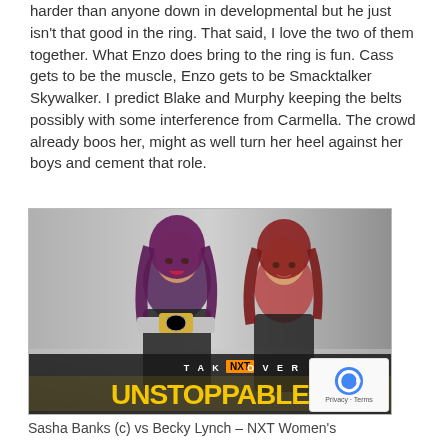harder than anyone down in developmental but he just isn't that good in the ring. That said, I love the two of them together. What Enzo does bring to the ring is fun. Cass gets to be the muscle, Enzo gets to be Smacktalker Skywalker. I predict Blake and Murphy keeping the belts possibly with some interference from Carmella. The crowd already boos her, might as well turn her heel against her boys and cement that role.
[Figure (photo): NXT TakeOver Unstoppable promotional image featuring two female wrestlers — Sasha Banks on the left holding a championship belt, and Becky Lynch on the right — against a grey gradient background with 'TAKE NXT OVER UNSTOPPABLE' text logo in yellow and black at the bottom.]
Sasha Banks (c) vs Becky Lynch – NXT Women's